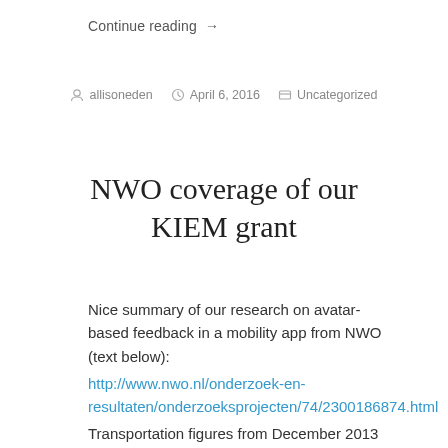Continue reading →
allisoneden   April 6, 2016   Uncategorized
NWO coverage of our KIEM grant
Nice summary of our research on avatar-based feedback in a mobility app from NWO (text below): http://www.nwo.nl/onderzoek-en-resultaten/onderzoeksprojecten/74/2300186874.html Transportation figures from December 2013 on traffic jams ('filedruk') showed that the number and intensity of traffic jams in the Netherlands has increased (http://nos.nl/artikel/581315-filedruk-neemt-weer-